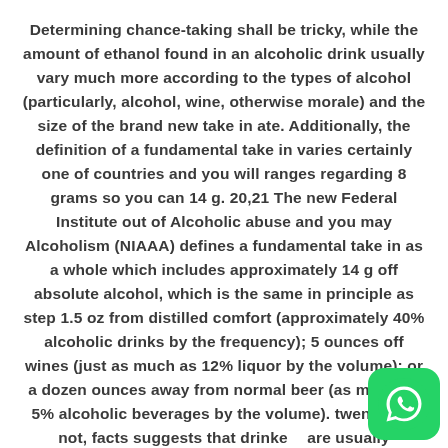Determining chance-taking shall be tricky, while the amount of ethanol found in an alcoholic drink usually vary much more according to the types of alcohol (particularly, alcohol, wine, otherwise morale) and the size of the brand new take in ate. Additionally, the definition of a fundamental take in varies certainly one of countries and you will ranges regarding 8 grams so you can 14 g. 20,21 The new Federal Institute out of Alcoholic abuse and you may Alcoholism (NIAAA) defines a fundamental take in as a whole which includes approximately 14 g off absolute alcohol, which is the same in principle as step 1.5 oz from distilled comfort (approximately 40% alcoholic drinks by the frequency); 5 ounces off wines (just as much as 12% liquor by the volume); or a dozen ounces away from normal beer (as much as 5% alcoholic beverages by the volume). twenty two not, facts suggests that drinkers are usually unacquainted with how practical drinks were defined and this this type of standard take in systems
[Figure (logo): WhatsApp icon — green rounded square with white phone handset logo]